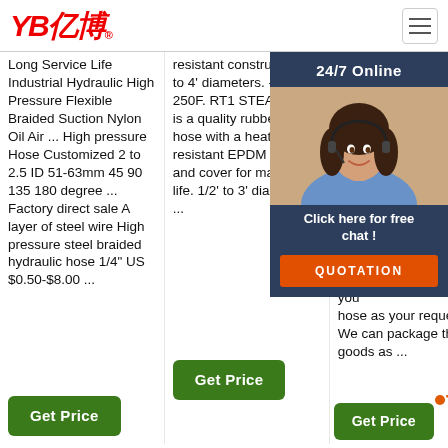[Figure (logo): YB 亿博 logo in red italic text with registered trademark symbol]
Long Service Life Industrial Hydraulic High Pressure Flexible Braided Suction Nylon Oil Air ... High pressure Hose Customized 2 to 2.5 ID 51-63mm 45 90 135 180 degree ... Factory direct sale A layer of steel wire High pressure steel braided hydraulic hose 1/4" US $0.50-$8.00 ...
resistant construction. 1' to 4' diameters. -40F to 250F. RT1 STEAM. RT1 is a quality rubber steam hose with a heat resistant EPDM tube and cover for maximum life. 1/2' to 3' diameters. ...
Hose Competitive Advantages: Pro hose for c We hose Indu hose sen size cust can you hose as your request. 6. We can package the goods as ...
[Figure (photo): Customer service representative woman with headset, 24/7 Online chat widget overlay with dark blue background, orange QUOTATION button]
Get Price (button, column 1)
Get Price (button, column 2)
Get Price (button, column 3)